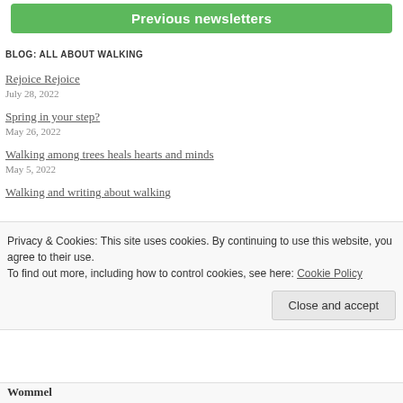Previous newsletters
BLOG: ALL ABOUT WALKING
Rejoice Rejoice
July 28, 2022
Spring in your step?
May 26, 2022
Walking among trees heals hearts and minds
May 5, 2022
Walking and writing about walking
Privacy & Cookies: This site uses cookies. By continuing to use this website, you agree to their use.
To find out more, including how to control cookies, see here: Cookie Policy
Close and accept
Wommel